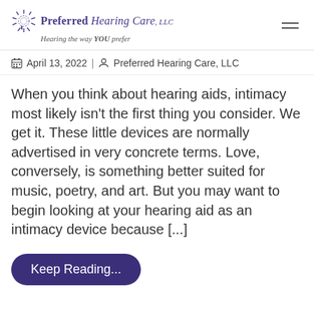Preferred Hearing Care, LLC — Hearing the way YOU prefer
April 13, 2022 | Preferred Hearing Care, LLC
When you think about hearing aids, intimacy most likely isn't the first thing you consider. We get it. These little devices are normally advertised in very concrete terms. Love, conversely, is something better suited for music, poetry, and art. But you may want to begin looking at your hearing aid as an intimacy device because [...]
Keep Reading...